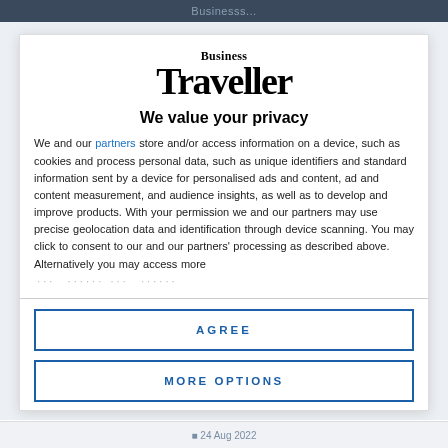Businesss...
[Figure (logo): Business Traveller logo — two-line serif wordmark with 'Business' above 'Traveller']
We value your privacy
We and our partners store and/or access information on a device, such as cookies and process personal data, such as unique identifiers and standard information sent by a device for personalised ads and content, ad and content measurement, and audience insights, as well as to develop and improve products. With your permission we and our partners may use precise geolocation data and identification through device scanning. You may click to consent to our and our partners' processing as described above. Alternatively you may access more
AGREE
MORE OPTIONS
24 Aug 2022